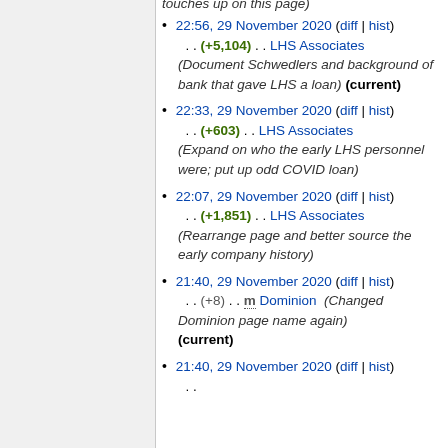22:56, 29 November 2020 (diff | hist) . . (+5,104) . . LHS Associates (Document Schwedlers and background of bank that gave LHS a loan) (current)
22:33, 29 November 2020 (diff | hist) . . (+603) . . LHS Associates (Expand on who the early LHS personnel were; put up odd COVID loan)
22:07, 29 November 2020 (diff | hist) . . (+1,851) . . LHS Associates (Rearrange page and better source the early company history)
21:40, 29 November 2020 (diff | hist) . . (+8) . . m Dominion (Changed Dominion page name again) (current)
21:40, 29 November 2020 (diff | hist) . .